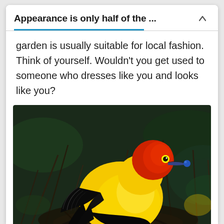Appearance is only half of the ...
garden is usually suitable for local fashion. Think of yourself. Wouldn't you get used to someone who dresses like you and looks like you?
[Figure (photo): A brightly colored bird with a vivid yellow body, red head, and dark wing feathers, perched among dark grass and twigs. It is holding a small blue berry in its beak.]